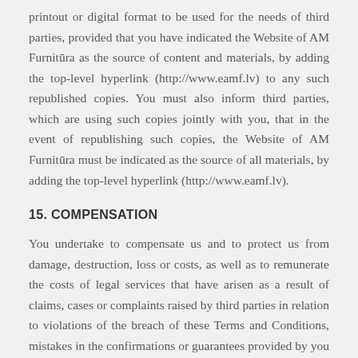printout or digital format to be used for the needs of third parties, provided that you have indicated the Website of AM Furnitūra as the source of content and materials, by adding the top-level hyperlink (http://www.eamf.lv) to any such republished copies. You must also inform third parties, which are using such copies jointly with you, that in the event of republishing such copies, the Website of AM Furnitūra must be indicated as the source of all materials, by adding the top-level hyperlink (http://www.eamf.lv).
15. COMPENSATION
You undertake to compensate us and to protect us from damage, destruction, loss or costs, as well as to remunerate the costs of legal services that have arisen as a result of claims, cases or complaints raised by third parties in relation to violations of the breach of these Terms and Conditions, mistakes in the confirmations or guarantees provided by you or the use of this Website by you.
16. DISPUTE RESOLUTION PROCEDURE